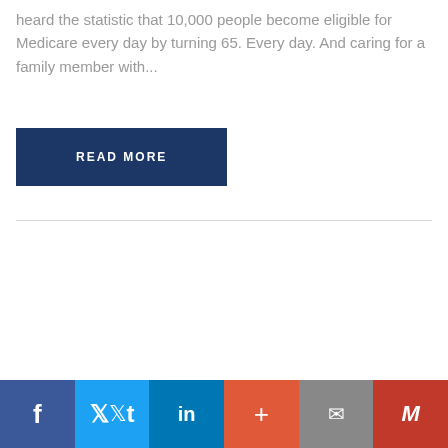heard the statistic that 10,000 people become eligible for Medicare every day by turning 65. Every day. And caring for a family member with...
READ MORE
079: Home for the Holidays: Time for The Talk with Elderly Parents
[Figure (infographic): Social sharing bar with icons for Facebook, Twitter, LinkedIn, Google+, Email, and Gmail]